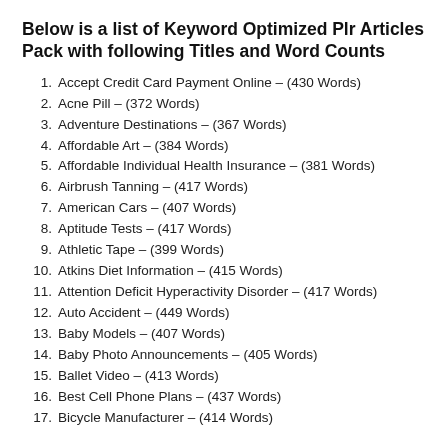Below is a list of Keyword Optimized Plr Articles Pack with following Titles and Word Counts
1. Accept Credit Card Payment Online – (430 Words)
2. Acne Pill – (372 Words)
3. Adventure Destinations – (367 Words)
4. Affordable Art – (384 Words)
5. Affordable Individual Health Insurance – (381 Words)
6. Airbrush Tanning – (417 Words)
7. American Cars – (407 Words)
8. Aptitude Tests – (417 Words)
9. Athletic Tape – (399 Words)
10. Atkins Diet Information – (415 Words)
11. Attention Deficit Hyperactivity Disorder – (417 Words)
12. Auto Accident – (449 Words)
13. Baby Models – (407 Words)
14. Baby Photo Announcements – (405 Words)
15. Ballet Video – (413 Words)
16. Best Cell Phone Plans – (437 Words)
17. Bicycle Manufacturer – (414 Words)